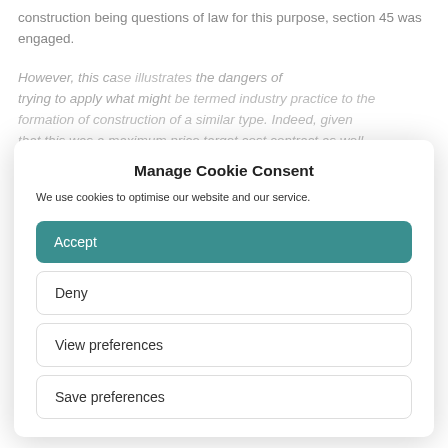construction being questions of law for this purpose, section 45 was engaged.
However, this case illustrates the dangers of trying to apply what might be termed industry practice to the formation of construction of a similar type. Indeed, given that this was a maximum price target cost contract as well, it is important that an employer might take from knowing that it was not paying above the odds it the contract converted costs reimbursable one, would be limited, not least as the certainty that comes with such a contract would be totally lost on that approach.
Manage Cookie Consent
We use cookies to optimise our website and our service.
Accept
Deny
View preferences
Save preferences
Coulson J had no difficulty in dismissing TES's case on contractual construction. He made the following points:
there was no provision within the [contract] that